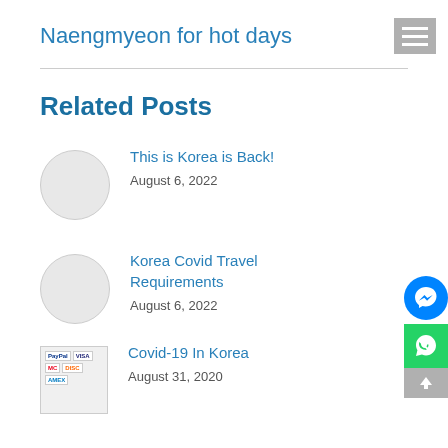Naengmyeon for hot days
Related Posts
This is Korea is Back!
August 6, 2022
Korea Covid Travel Requirements
August 6, 2022
Covid-19 In Korea